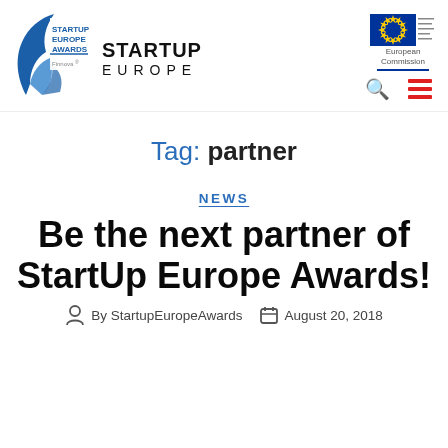[Figure (logo): StartUp Europe Awards logo with Finnova branding, StartUp Europe text logo, and European Commission logo in the header navigation bar]
Tag: partner
NEWS
Be the next partner of StartUp Europe Awards!
By StartupEuropeAwards  August 20, 2018